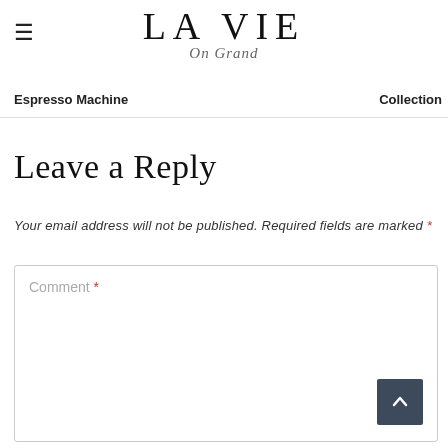LA VIE On Grand
Espresso Machine    Collection
Leave a Reply
Your email address will not be published. Required fields are marked *
Comment *